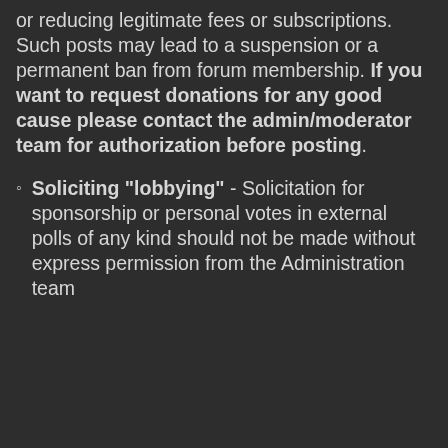or reducing legitimate fees or subscriptions. Such posts may lead to a suspension or a permanent ban from forum membership. If you want to request donations for any good cause please contact the admin/moderator team for authorization before posting.
Soliciting "lobbying" - Solicitation for sponsorship or personal votes in external polls of any kind should not be made without express permission from the Administration team